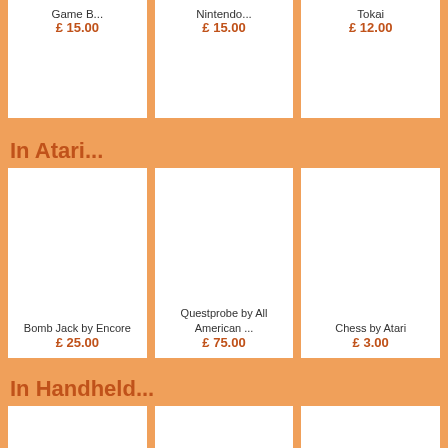Game B...
£ 15.00
Nintendo...
£ 15.00
Tokai
£ 12.00
In Atari...
Bomb Jack by Encore
£ 25.00
Questprobe by All American ...
£ 75.00
Chess by Atari
£ 3.00
In Handheld...
[Figure (photo): Three product image cards in handheld section, images not visible]
[Figure (photo): Middle handheld product card]
[Figure (photo): Right handheld product card]